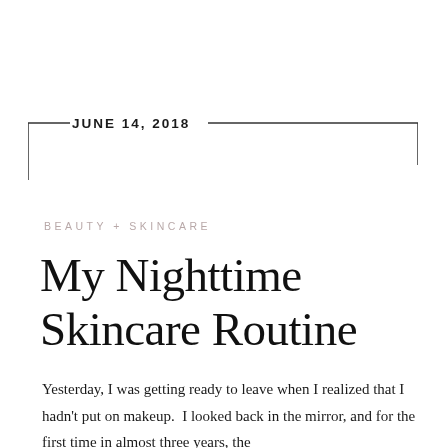JUNE 14, 2018
BEAUTY + SKINCARE
My Nighttime Skincare Routine
Yesterday, I was getting ready to leave when I realized that I hadn't put on makeup.  I looked back in the mirror, and for the first time in almost three years, the